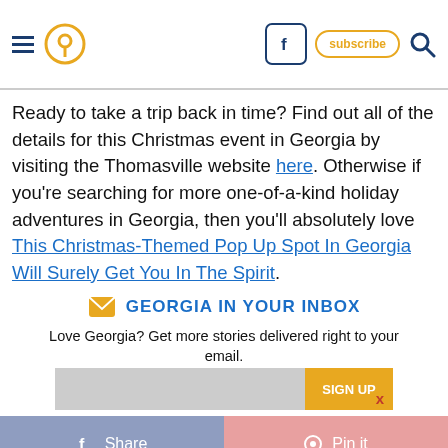Navigation header with hamburger menu, location pin icon, Facebook button, subscribe button, and search icon
Ready to take a trip back in time? Find out all of the details for this Christmas event in Georgia by visiting the Thomasville website here. Otherwise if you're searching for more one-of-a-kind holiday adventures in Georgia, then you'll absolutely love This Christmas-Themed Pop Up Spot In Georgia Will Surely Get You In The Spirit.
GEORGIA IN YOUR INBOX
Love Georgia? Get more stories delivered right to your email.
Share  Pin it
From The Web  Sponsored Links by Taboola